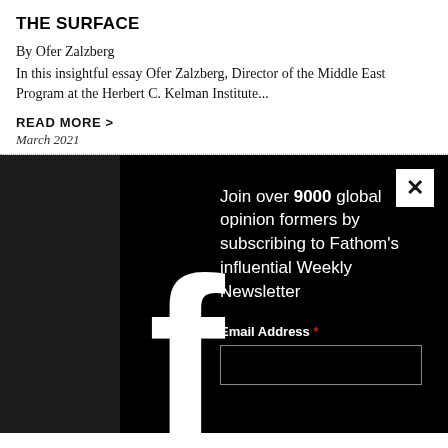THE SURFACE
By Ofer Zalzberg
In this insightful essay Ofer Zalzberg, Director of the Middle East Program at the Herbert C. Kelman Institute...
READ MORE >
March 2021
[Figure (screenshot): Newsletter subscription overlay popup with dark/black background, large white 'f' letter on the left, close button (X) in the top right corner, headline text 'Join over 9000 global opinion formers by subscribing to Fathom's influential Weekly Newsletter', and an Email Address field with red asterisk below.]